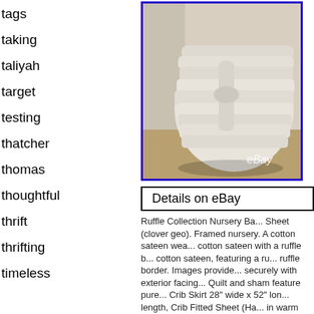tags
taking
taliyah
target
testing
thatcher
thomas
thoughtful
thrift
thrifting
timeless
[Figure (photo): White ruffle fabric/nursery bedding item folded and stacked, with eBay watermark, blue border]
Details on eBay
Ruffle Collection Nursery Ba... Sheet (clover geo). Framed nursery. A cotton sateen wea... cotton sateen with a ruffle b... cotton sateen, featuring a ru... ruffle border. Images provide... securely with exterior facing... Quilt and sham feature pure... Crib Skirt 28″ wide x 52″ lon... length, Crib Fitted Sheet (Ha... in warm water; gentle cycle...